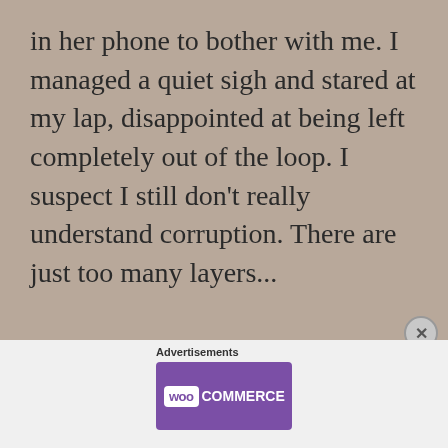in her phone to bother with me. I managed a quiet sigh and stared at my lap, disappointed at being left completely out of the loop. I suspect I still don't really understand corruption. There are just too many layers...
[Figure (screenshot): WooCommerce advertisement banner with purple background, WooCommerce logo on left and tagline 'The most customizable eCommerce platform' on right]
Advertisements